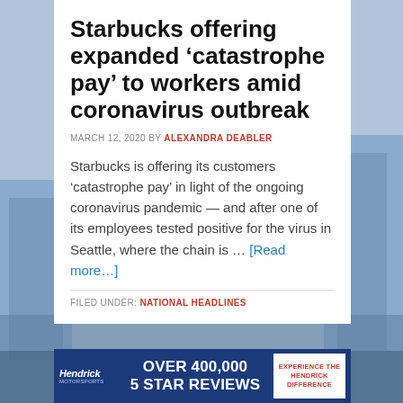Starbucks offering expanded ‘catastrophe pay’ to workers amid coronavirus outbreak
MARCH 12, 2020 BY ALEXANDRA DEABLER
Starbucks is offering its customers ‘catastrophe pay’ in light of the ongoing coronavirus pandemic — and after one of its employees tested positive for the virus in Seattle, where the chain is … [Read more…]
FILED UNDER: NATIONAL HEADLINES
[Figure (other): Hendrick Motors advertisement banner: Over 400,000 5 Star Reviews. Experience the Hendrick Difference.]